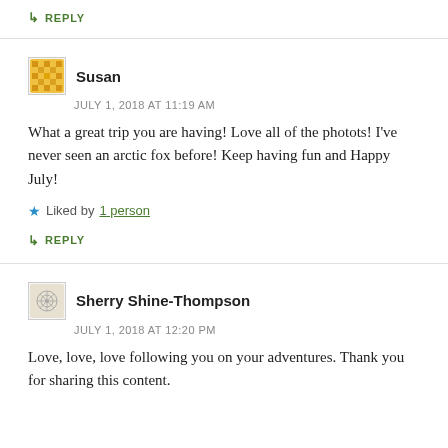↳ REPLY
Susan
JULY 1, 2018 AT 11:19 AM
What a great trip you are having! Love all of the photots! I've never seen an arctic fox before! Keep having fun and Happy July!
★ Liked by 1 person
↳ REPLY
Sherry Shine-Thompson
JULY 1, 2018 AT 12:20 PM
Love, love, love following you on your adventures. Thank you for sharing this content.